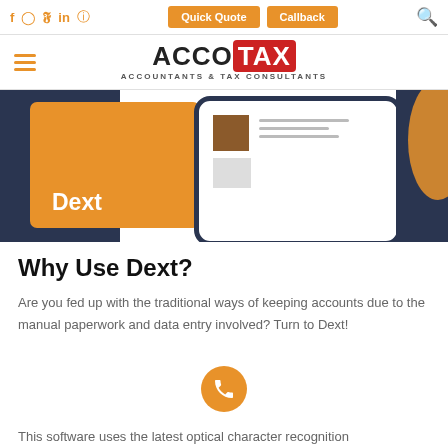ACCO TAX – ACCOUNTANTS & TAX CONSULTANTS – Quick Quote | Callback
[Figure (illustration): Dext app illustration showing orange branded card with 'Dext' text, dark background, and a smartphone screen showing a document with brown square icon, gray lines, and a light gray square.]
Why Use Dext?
Are you fed up with the traditional ways of keeping accounts due to the manual paperwork and data entry involved? Turn to Dext!
This software uses the latest optical character recognition